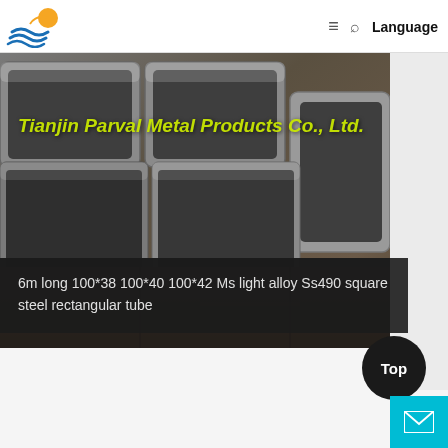Tianjin Parval Metal Products Co., Ltd. — Logo, hamburger menu, search, Language
[Figure (photo): Stack of rectangular steel tubes/pipes (square steel rectangular tubes) viewed from the end, showing hollow cross-sections, with a dark overlay band at the bottom containing product caption text. Company name 'Tianjin Parval Metal Products Co., Ltd.' overlaid in yellow-green bold italic text on the photo.]
6m long 100*38 100*40 100*42 Ms light alloy Ss490 square steel rectangular tube